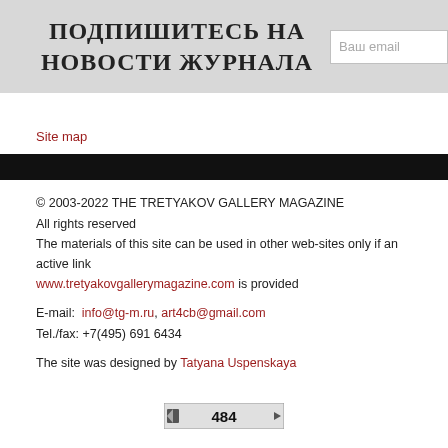ПОДПИШИТЕСЬ НА НОВОСТИ ЖУРНАЛА
Ваш email
Site map
© 2003-2022 THE TRETYAKOV GALLERY MAGAZINE
All rights reserved
The materials of this site can be used in other web-sites only if an active link www.tretyakovgallerymagazine.com is provided

E-mail: info@tg-m.ru, art4cb@gmail.com
Tel./fax: +7(495) 691 6434

The site was designed by Tatyana Uspenskaya
[Figure (other): Page view counter showing 484]